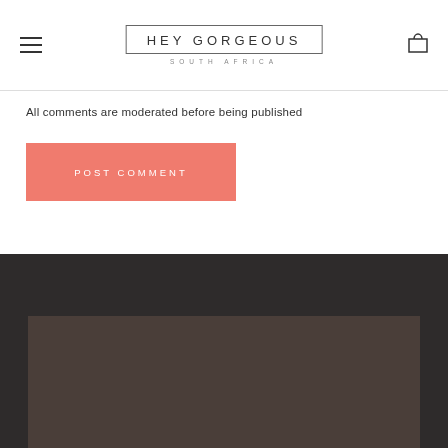HEY GORGEOUS SOUTH AFRICA
All comments are moderated before being published
POST COMMENT
[Figure (other): Dark footer background with a brownish image area at the bottom]